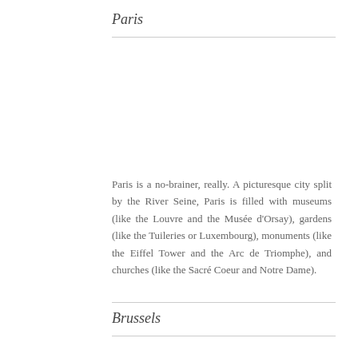Paris
Paris is a no-brainer, really. A picturesque city split by the River Seine, Paris is filled with museums (like the Louvre and the Musée d'Orsay), gardens (like the Tuileries or Luxembourg), monuments (like the Eiffel Tower and the Arc de Triomphe), and churches (like the Sacré Coeur and Notre Dame).
Brussels